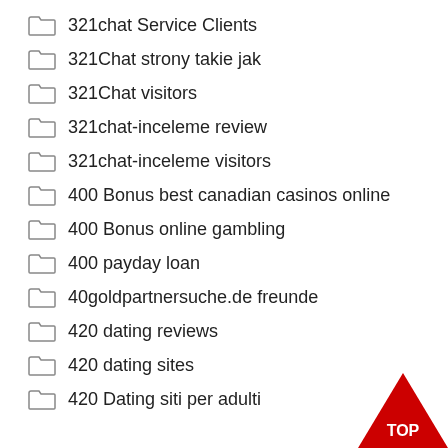321chat Service Clients
321Chat strony takie jak
321Chat visitors
321chat-inceleme review
321chat-inceleme visitors
400 Bonus best canadian casinos online
400 Bonus online gambling
400 payday loan
40goldpartnersuche.de freunde
420 dating reviews
420 dating sites
420 Dating siti per adulti